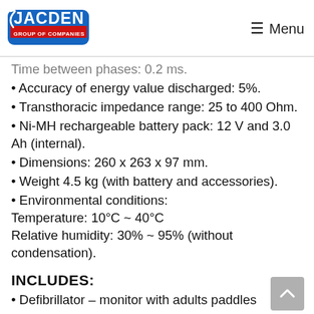Jacden Group of Companies — Menu
Time between phases: 0.2 ms.
Accuracy of energy value discharged: 5%.
Transthoracic impedance range: 25 to 400 Ohm.
Ni-MH rechargeable battery pack: 12 V and 3.0 Ah (internal).
Dimensions: 260 x 263 x 97 mm.
Weight 4.5 kg (with battery and accessories).
Environmental conditions: Temperature: 10°C ~ 40°C Relative humidity: 30% ~ 95% (without condensation).
INCLUDES:
Defibrillator – monitor with adults paddles